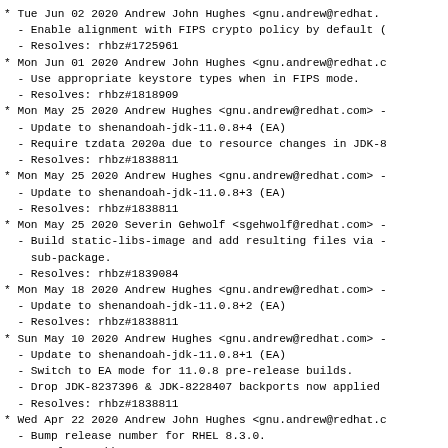* Tue Jun 02 2020 Andrew John Hughes <gnu.andrew@redhat.
  - Enable alignment with FIPS crypto policy by default (
  - Resolves: rhbz#1725961
* Mon Jun 01 2020 Andrew John Hughes <gnu.andrew@redhat.c
  - Use appropriate keystore types when in FIPS mode.
  - Resolves: rhbz#1818909
* Mon May 25 2020 Andrew Hughes <gnu.andrew@redhat.com> -
  - Update to shenandoah-jdk-11.0.8+4 (EA)
  - Require tzdata 2020a due to resource changes in JDK-8
  - Resolves: rhbz#1838811
* Mon May 25 2020 Andrew Hughes <gnu.andrew@redhat.com> -
  - Update to shenandoah-jdk-11.0.8+3 (EA)
  - Resolves: rhbz#1838811
* Mon May 25 2020 Severin Gehwolf <sgehwolf@redhat.com> -
  - Build static-libs-image and add resulting files via -
    sub-package.
  - Resolves: rhbz#1839084
* Mon May 18 2020 Andrew Hughes <gnu.andrew@redhat.com> -
  - Update to shenandoah-jdk-11.0.8+2 (EA)
  - Resolves: rhbz#1838811
* Sun May 10 2020 Andrew Hughes <gnu.andrew@redhat.com> -
  - Update to shenandoah-jdk-11.0.8+1 (EA)
  - Switch to EA mode for 11.0.8 pre-release builds.
  - Drop JDK-8237396 & JDK-8228407 backports now applied
  - Resolves: rhbz#1838811
* Wed Apr 22 2020 Andrew John Hughes <gnu.andrew@redhat.c
  - Bump release number for RHEL 8.3.0.
  - Resolves: rhbz#1810557
* Wed Apr 22 2020 Andrew John Hughes <gnu.andrew@redhat.com> -
  - Add JDK-8228407 backport to resolve crashes during ve